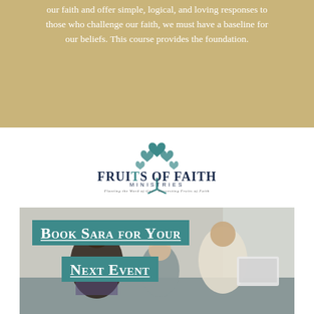our faith and offer simple, logical, and loving responses to those who challenge our faith, we must have a baseline for our beliefs. This course provides the foundation.
[Figure (logo): Fruits of Faith Ministries logo — teal tree with heart-shaped leaves above stylized text reading FRUITS OF FAITH MINISTRIES, with tagline: Planting the Word of God · Harvesting Fruits of Faith]
[Figure (photo): Photo of a family (father and two children) sitting on a couch looking at a laptop together, with overlay text boxes reading 'Book Sara for Your Next Event']
Book Sara for Your Next Event